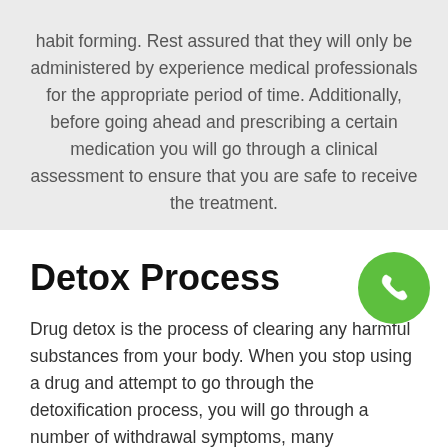habit forming. Rest assured that they will only be administered by experience medical professionals for the appropriate period of time. Additionally, before going ahead and prescribing a certain medication you will go through a clinical assessment to ensure that you are safe to receive the treatment.
Detox Process
Drug detox is the process of clearing any harmful substances from your body. When you stop using a drug and attempt to go through the detoxification process, you will go through a number of withdrawal symptoms, many